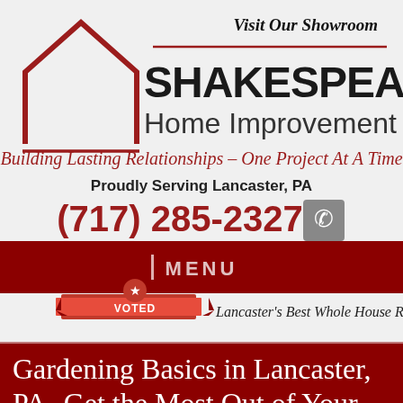[Figure (logo): Shakespeare Home Improvement Co. logo with house outline in dark red, company name, tagline, phone number, and menu bar]
Visit Our Showroom
SHAKESPEARE Home Improvement Co.
Building Lasting Relationships – One Project At A Time
Proudly Serving Lancaster, PA
(717) 285-2327
MENU
Lancaster's Best Whole House Remodeler
Gardening Basics in Lancaster, PA- Get the Most Out of Your Newfound Green Thumb